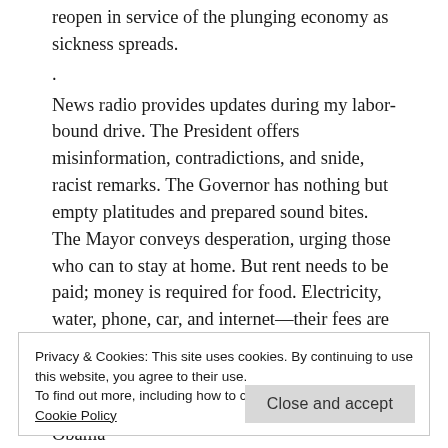reopen in service of the plunging economy as sickness spreads.
.
News radio provides updates during my labor-bound drive. The President offers misinformation, contradictions, and snide, racist remarks. The Governor has nothing but empty platitudes and prepared sound bites. The Mayor conveys desperation, urging those who can to stay at home. But rent needs to be paid; money is required for food. Electricity, water, phone, car, and internet—their fees are indifferent to the virus. I also need to keep the digital distractions funded. I'm not too proud to admit that I might go mad without them.
Privacy & Cookies: This site uses cookies. By continuing to use this website, you agree to their use.
To find out more, including how to control cookies, see here: Cookie Policy
Close and accept
2nd Amendment, Open the Bars, Hillary and Obama—